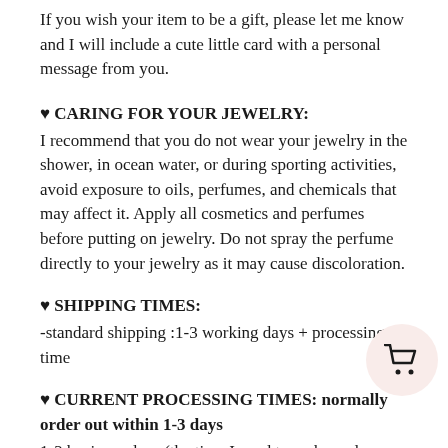If you wish your item to be a gift, please let me know and I will include a cute little card with a personal message from you.
♥ CARING FOR YOUR JEWELRY:
I recommend that you do not wear your jewelry in the shower, in ocean water, or during sporting activities, avoid exposure to oils, perfumes, and chemicals that may affect it. Apply all cosmetics and perfumes before putting on jewelry. Do not spray the perfume directly to your jewelry as it may cause discoloration.
♥ SHIPPING TIMES:
-standard shipping :1-3 working days + processing time
♥ CURRENT PROCESSING TIMES: normally order out within 1-3 days
1-2 business days (the time I need to make and